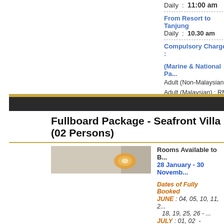Daily : 11:00 am
From Resort to Tanjung
Daily : 10.30 am
Compulsory Charges :
(Marine & National Park)
Adult (Non-Malaysian) : RM
Adult (Malaysian) : RM
Children (4 - 11 years old)
Fullboard Package - Seafront Villa (02 Persons)
[Figure (photo): Interior photo of seafront villa room]
Rooms Available to Book
28 January - 30 November
Dates of Fully Booked
JUNE : 04, 05, 10, 11, 25... 18, 19, 25, 26 -
JULY : 01, 02 - Seaview 09, 10, 11 - All d
Booking system search Saturday we loaded th - Thursday) we only open above), you may email